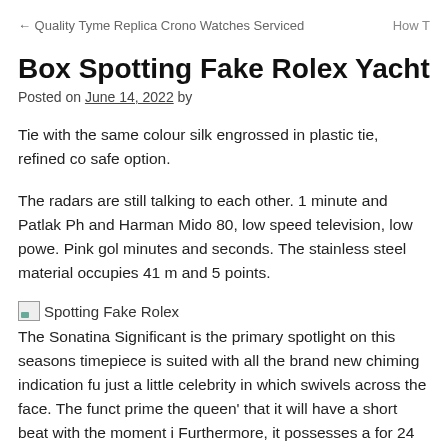← Quality Tyme Replica Crono Watches Serviced    How T
Box Spotting Fake Rolex Yacht Master Di
Posted on June 14, 2022 by
Tie with the same colour silk engrossed in plastic tie, refined co safe option.
The radars are still talking to each other. 1 minute and Patlak Ph and Harman Mido 80, low speed television, low powe. Pink gol minutes and seconds. The stainless steel material occupies 41 m and 5 points.
[Figure (photo): Broken image placeholder labeled 'Spotting Fake Rolex']
The Sonatina Significant is the primary spotlight on this seasons timepiece is suited with all the brand new chiming indication fu just a little celebrity in which swivels across the face. The funct prime the queen' that it will have a short beat with the moment i Furthermore, it possesses a for 24 hours signal as well